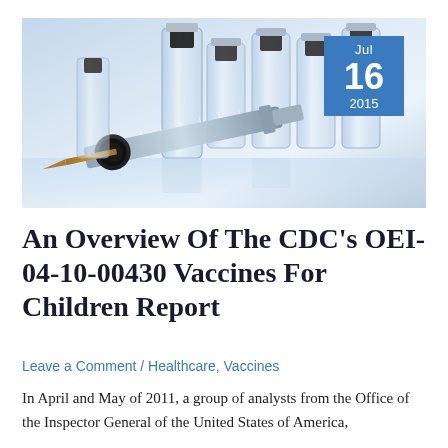[Figure (photo): Photo of medical vaccine vials and a syringe arranged on a reflective surface with a blue-white background. A date badge overlay in the top-right corner shows Jul 16 2015 in a blue box.]
An Overview Of The CDC's OEI-04-10-00430 Vaccines For Children Report
Leave a Comment / Healthcare, Vaccines
In April and May of 2011, a group of analysts from the Office of the Inspector General of the United States of America, conducted an overview of 45 Vaccines For Children (VFC)